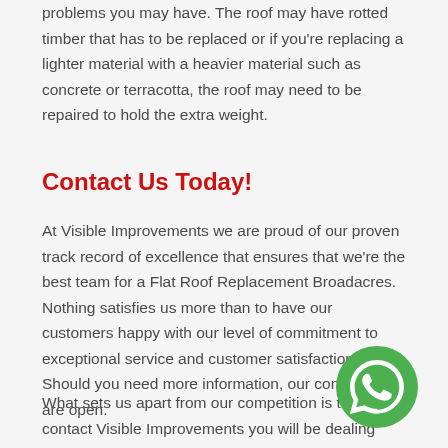problems you may have. The roof may have rotted timber that has to be replaced or if you're replacing a lighter material with a heavier material such as concrete or terracotta, the roof may need to be repaired to hold the extra weight.
Contact Us Today!
At Visible Improvements we are proud of our proven track record of excellence that ensures that we're the best team for a Flat Roof Replacement Broadacres. Nothing satisfies us more than to have our customers happy with our level of commitment to exceptional service and customer satisfaction. Should you need more information, our contact lines are open.
What sets us apart from our competition is that contact Visible Improvements you will be dealing directly